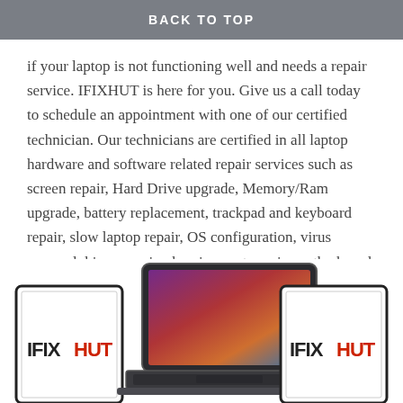BACK TO TOP
if your laptop is not functioning well and needs a repair service. IFIXHUT is here for you. Give us a call today to schedule an appointment with one of our certified technician. Our technicians are certified in all laptop hardware and software related repair services such as screen repair, Hard Drive upgrade, Memory/Ram upgrade, battery replacement, trackpad and keyboard repair, slow laptop repair, OS configuration, virus removal, hinge repair, charging port repair, motherboard repair, and so on.
MacBook Repair Services
[Figure (photo): MacBook laptop in the center with two tablet/device frames showing IFIXHUT logo on the left and right sides]